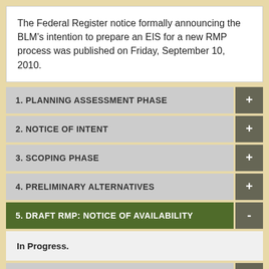The Federal Register notice formally announcing the BLM's intention to prepare an EIS for a new RMP process was published on Friday, September 10, 2010.
1. PLANNING ASSESSMENT PHASE
2. NOTICE OF INTENT
3. SCOPING PHASE
4. PRELIMINARY ALTERNATIVES
5. DRAFT RMP: NOTICE OF AVAILABILITY
In Progress.
6. PROPOSED RMP: NOTICE OF AVAILABILITY